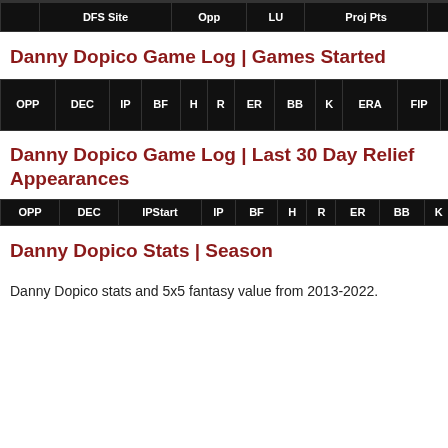| DFS Site | Opp | LU | Proj Pts | Salary | $/pt |
| --- | --- | --- | --- | --- | --- |
Danny Dopico Game Log | Games Started
| OPP | DEC | IP | BF | H | R | ER | BB | K | ERA | FIP | WHIP | BABIP | HR | Proj $ | A$ |
| --- | --- | --- | --- | --- | --- | --- | --- | --- | --- | --- | --- | --- | --- | --- | --- |
Danny Dopico Game Log | Last 30 Day Relief Appearances
| OPP | DEC | IPStart | IP | BF | H | R | ER | BB | K | HR | ERA | FIP | WHIP | $ |
| --- | --- | --- | --- | --- | --- | --- | --- | --- | --- | --- | --- | --- | --- | --- |
Danny Dopico Stats | Season
Danny Dopico stats and 5x5 fantasy value from 2013-2022.